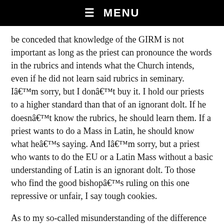☰ MENU
be conceded that knowledge of the GIRM is not important as long as the priest can pronounce the words in the rubrics and intends what the Church intends, even if he did not learn said rubrics in seminary. I'm sorry, but I don't buy it. I hold our priests to a higher standard than that of an ignorant dolt. If he doesn't know the rubrics, he should learn them. If a priest wants to do a Mass in Latin, he should know what he's saying. And I'm sorry, but a priest who wants to do the EU or a Latin Mass without a basic understanding of Latin is an ignorant dolt. To those who find the good bishop's ruling on this one repressive or unfair, I say tough cookies.
As to my so-called misunderstanding of the difference between public and private Masses, I thank you for the clarification, but I do not see where my misunderstanding occurred. I was merely commenting that if a group of parishioners smaller than